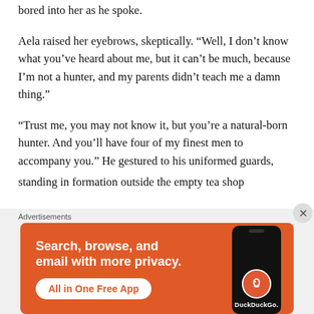bored into her as he spoke.
Aela raised her eyebrows, skeptically. “Well, I don’t know what you’ve heard about me, but it can’t be much, because I’m not a hunter, and my parents didn’t teach me a damn thing.”
“Trust me, you may not know it, but you’re a natural-born hunter. And you’ll have four of my finest men to accompany you.” He gestured to his uniformed guards, standing in formation outside the empty tea shop
Advertisements
[Figure (screenshot): DuckDuckGo advertisement banner with orange background. Text reads: Search, browse, and email with more privacy. All in One Free App. Shows a phone mockup with DuckDuckGo logo.]